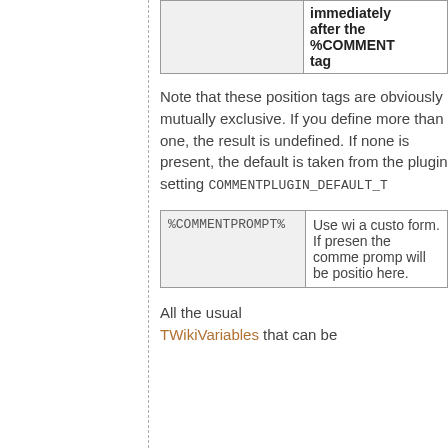|  | immediately after the %COMMENT tag |
Note that these position tags are obviously mutually exclusive. If you define more than one, the result is undefined. If none is present, the default is taken from the plugin setting COMMENTPLUGIN_DEFAULT_T
| %COMMENTPROMPT% | Use wi a custo form. If presen the comme promp will be positio here. |
All the usual TWikiVariables that can be